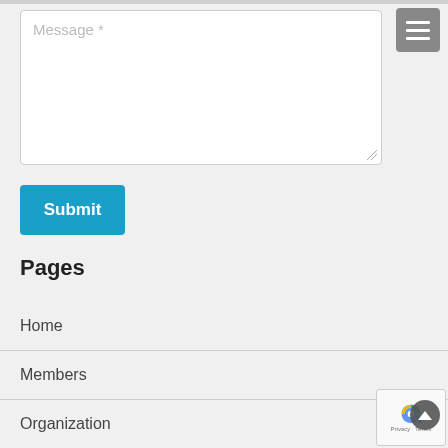Message *
Submit
Pages
Home
Members
Organization
Meetings
Products